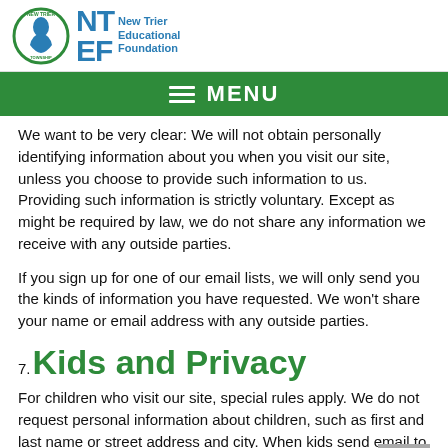New Trier Educational Foundation
MENU
We want to be very clear: We will not obtain personally identifying information about you when you visit our site, unless you choose to provide such information to us. Providing such information is strictly voluntary. Except as might be required by law, we do not share any information we receive with any outside parties.
If you sign up for one of our email lists, we will only send you the kinds of information you have requested. We won't share your name or email address with any outside parties.
7. Kids and Privacy
For children who visit our site, special rules apply. We do not request personal information about children, such as first and last name or street address and city. When kids send email to us, their online contact information (email address) is not used to re-contact them and is not maintained in